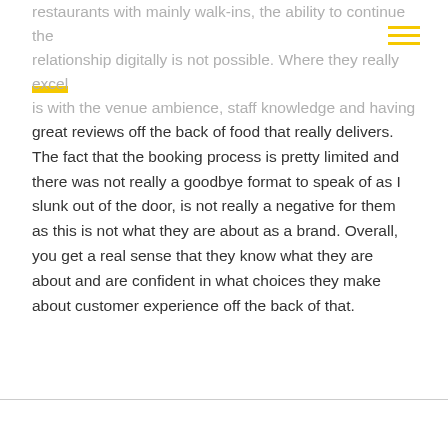restaurants with mainly walk-ins, the ability to continue the relationship digitally is not possible. Where they really excel is with the venue ambience, staff knowledge and having great reviews off the back of food that really delivers. The fact that the booking process is pretty limited and there was not really a goodbye format to speak of as I slunk out of the door, is not really a negative for them as this is not what they are about as a brand. Overall, you get a real sense that they know what they are about and are confident in what choices they make about customer experience off the back of that.